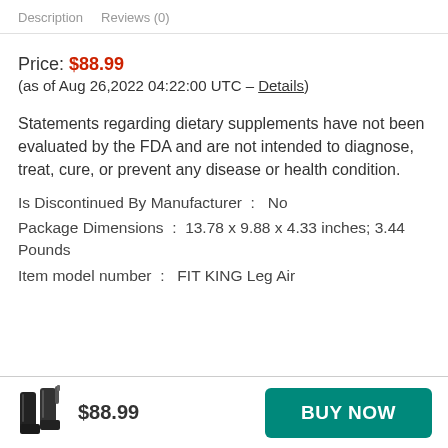Description   Reviews (0)
Price: $88.99
(as of Aug 26,2022 04:22:00 UTC – Details)
Statements regarding dietary supplements have not been evaluated by the FDA and are not intended to diagnose, treat, cure, or prevent any disease or health condition.
Is Discontinued By Manufacturer :  No
Package Dimensions : 13.78 x 9.88 x 4.33 inches; 3.44 Pounds
Item model number :  FIT KING Leg Air
$88.99  BUY NOW